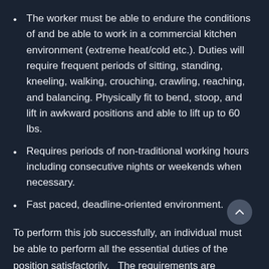The worker must be able to endure the conditions of and be able to work in a commercial kitchen environment (extreme heat/cold etc.). Duties will require frequent periods of sitting, standing, kneeling, walking, crouching, crawling, reaching, and balancing. Physically fit to bend, stoop, and lift in awkward positions and able to lift up to 60 lbs.
Requires periods of non-traditional working hours including consecutive nights or weekends when necessary.
Fast paced, deadline-oriented environment.
To perform this job successfully, an individual must be able to perform all the essential duties of the position satisfactorily.   The requirements are representative of the knowledge, skill, and/or ability required.  Reasonable accommodations may be made to enable qualified